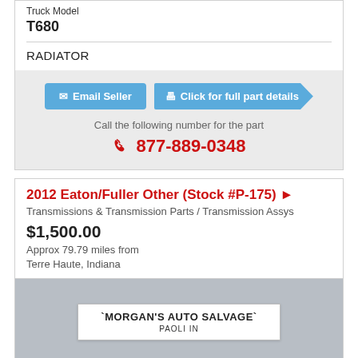Truck Model
T680
RADIATOR
Email Seller | Click for full part details
Call the following number for the part
877-889-0348
2012 Eaton/Fuller Other (Stock #P-175)
Transmissions & Transmission Parts / Transmission Assys
$1,500.00
Approx 79.79 miles from
Terre Haute, Indiana
[Figure (photo): Photo of Morgan's Auto Salvage sign reading 'MORGAN'S AUTO SALVAGE' and 'PAOLI IN' on a gray background]